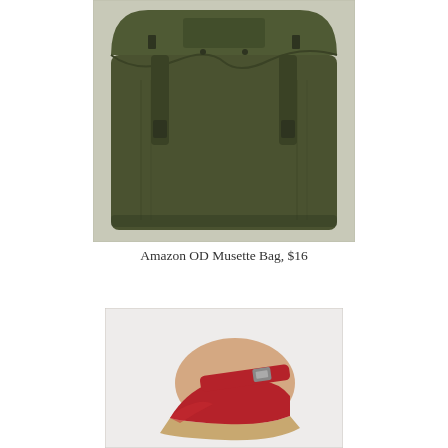[Figure (photo): Olive drab military-style canvas musette bag with two strap buckles and a flap closure, photographed against a light background.]
Amazon OD Musette Bag, $16
[Figure (photo): Red suede wedge sandal with ankle strap and silver buckle, partially visible from the side, photographed against a light gray/white background.]